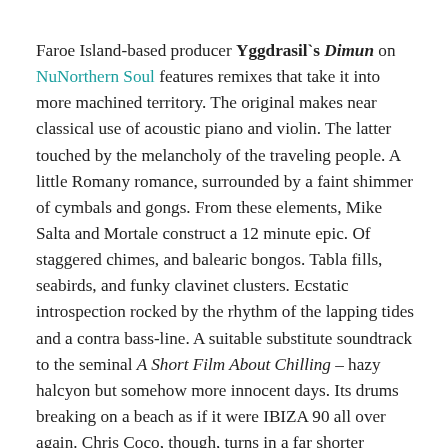Faroe Island-based producer Yggdrasil`s Dimun on NuNorthern Soul features remixes that take it into more machined territory. The original makes near classical use of acoustic piano and violin. The latter touched by the melancholy of the traveling people. A little Romany romance, surrounded by a faint shimmer of cymbals and gongs. From these elements, Mike Salta and Mortale construct a 12 minute epic. Of staggered chimes, and balearic bongos. Tabla fills, seabirds, and funky clavinet clusters. Ecstatic introspection rocked by the rhythm of the lapping tides and a contra bass-line. A suitable substitute soundtrack to the seminal A Short Film About Chilling – hazy halcyon but somehow more innocent days. Its drums breaking on a beach as if it were IBIZA 90 all over again. Chris Coco, though, turns in a far shorter treatment. Toying with the track`s parameters of sound. The piano now playing amongst phased